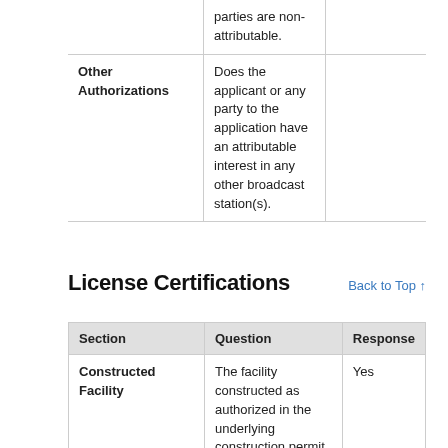| Section | Question | Response |
| --- | --- | --- |
| Other Authorizations | Does the applicant or any party to the application have an attributable interest in any other broadcast station(s). |  |
|  | parties are non-attributable. |  |
License Certifications
Back to Top ↑
| Section | Question | Response |
| --- | --- | --- |
| Constructed Facility | The facility constructed as authorized in the underlying construction permit. | Yes |